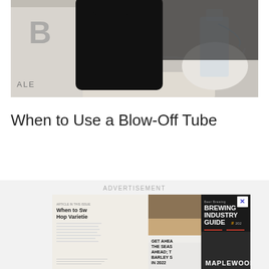[Figure (photo): Black and white photo of homebrewing equipment: a dark glass carboy/jug with dark liquid, a white bucket labeled 'ALE', a clear tube/siphon connecting to a glass bottle with airlock, all sitting on a cloth]
When to Use a Blow-Off Tube
ADVERTISEMENT
[Figure (photo): Advertisement showing Beer & Brewing magazine covers including 'Brewing Industry Guide', articles about 'When to Switch Hop Varieties', 'Get Ahead of the Season; The Barley Situation in 2022', and featuring Maplewood brewery staff. Includes a play button overlay on the left side.]